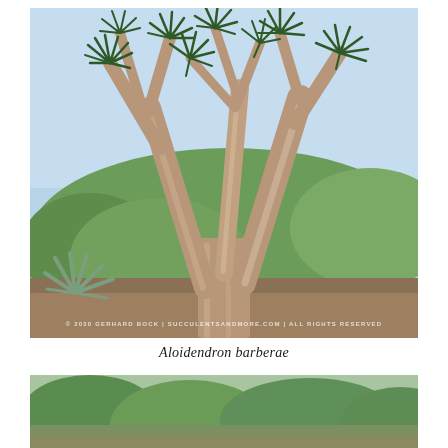[Figure (photo): Large Aloidendron barberae tree with multiple tall branching trunks topped with rosettes of long narrow leaves, set against a blue sky with green shrubs and trees in the background. Watermark reads: © 2020 GERHARD BOCK | SUCCULENTSANDMORE.COM | ALL RIGHTS RESERVED]
Aloidendron barberae
[Figure (photo): Partial view of a garden landscape with succulent plants and green foliage, bottom portion of page.]